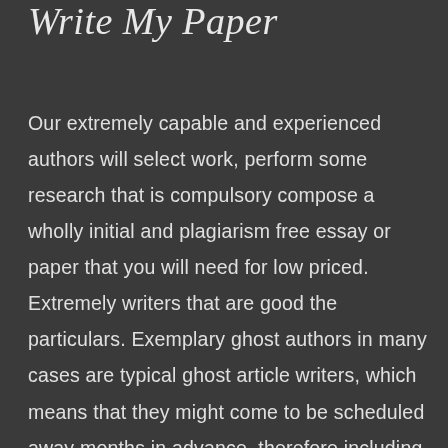Write My Paper
Our extremely capable and experienced authors will select work, perform some research that is compulsory compose a wholly initial and plagiarism free essay or paper that you will need for low priced. Extremely writers that are good the particulars. Exemplary ghost authors in many cases are typical ghost article writers, which means that they might come to be scheduled away months in advance, therefore including months to your